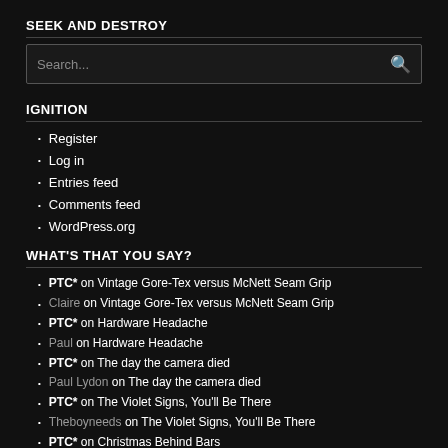SEEK AND DESTROY
[Figure (screenshot): Search input box with placeholder text 'Search...' and a search icon on the right, dark background]
IGNITION
Register
Log in
Entries feed
Comments feed
WordPress.org
WHAT'S THAT YOU SAY?
PTC* on Vintage Gore-Tex versus McNett Seam Grip
Claire on Vintage Gore-Tex versus McNett Seam Grip
PTC* on Hardware Headache
Paul on Hardware Headache
PTC* on The day the camera died
Paul Lydon on The day the camera died
PTC* on The Violet Signs, You'll Be There
Theboyneeds on The Violet Signs, You'll Be There
PTC* on Christmas Behind Bars
Paul Lydon on Christmas Behind Bars